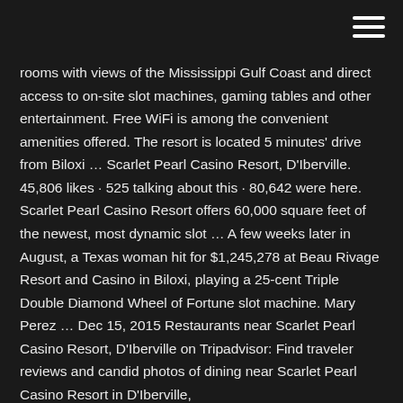rooms with views of the Mississippi Gulf Coast and direct access to on-site slot machines, gaming tables and other entertainment. Free WiFi is among the convenient amenities offered. The resort is located 5 minutes' drive from Biloxi … Scarlet Pearl Casino Resort, D'Iberville. 45,806 likes · 525 talking about this · 80,642 were here. Scarlet Pearl Casino Resort offers 60,000 square feet of the newest, most dynamic slot … A few weeks later in August, a Texas woman hit for $1,245,278 at Beau Rivage Resort and Casino in Biloxi, playing a 25-cent Triple Double Diamond Wheel of Fortune slot machine. Mary Perez … Dec 15, 2015 Restaurants near Scarlet Pearl Casino Resort, D'Iberville on Tripadvisor: Find traveler reviews and candid photos of dining near Scarlet Pearl Casino Resort in D'Iberville,